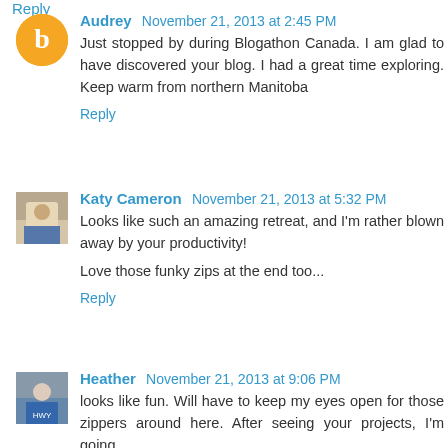Reply
Audrey November 21, 2013 at 2:45 PM
Just stopped by during Blogathon Canada. I am glad to have discovered your blog. I had a great time exploring. Keep warm from northern Manitoba
Reply
Katy Cameron November 21, 2013 at 5:32 PM
Looks like such an amazing retreat, and I'm rather blown away by your productivity!

Love those funky zips at the end too...
Reply
Heather November 21, 2013 at 9:06 PM
looks like fun. Will have to keep my eyes open for those zippers around here. After seeing your projects, I'm going